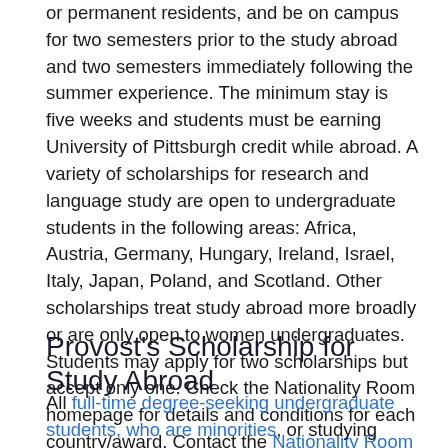or permanent residents, and be on campus for two semesters prior to the study abroad and two semesters immediately following the summer experience. The minimum stay is five weeks and students must be earning University of Pittsburgh credit while abroad. A variety of scholarships for research and language study are open to undergraduate students in the following areas: Africa, Austria, Germany, Hungary, Ireland, Israel, Italy, Japan, Poland, and Scotland. Other scholarships treat study abroad more broadly or are only open to women undergraduates. Students may apply for two scholarships but accept only one. Check the Nationality Room homepage for details and conditions for each country/award. Contact the Nationality Room Program at 412.624.6150. The deadline for picking up an application is January 14; completed applications are due on January 20.
Provost's Scholarship for Study Abroad
All full-time degree-seeking undergraduate students, who are minorities, or studying either in the following Colleges/Schools: Business, General Studies, Engineering...